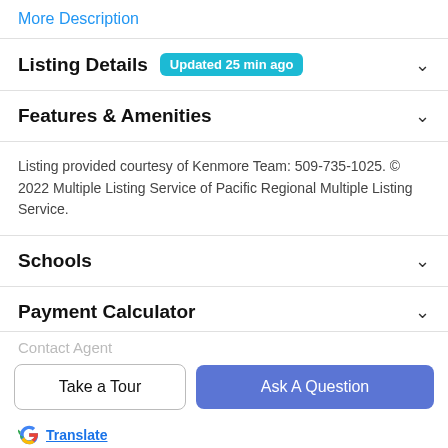More Description
Listing Details  Updated 25 min ago
Features & Amenities
Listing provided courtesy of Kenmore Team: 509-735-1025. © 2022 Multiple Listing Service of Pacific Regional Multiple Listing Service.
Schools
Payment Calculator
Contact Agent
Take a Tour
Ask A Question
Translate